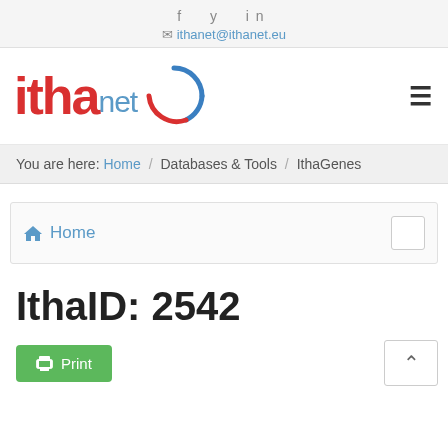f  y  in
✉ ithanet@ithanet.eu
[Figure (logo): Ithanet logo with red 'itha', blue 'net' text and blue/red circular arc graphic]
You are here: Home / Databases & Tools / IthaGenes
🏠 Home
IthaID: 2542
Print